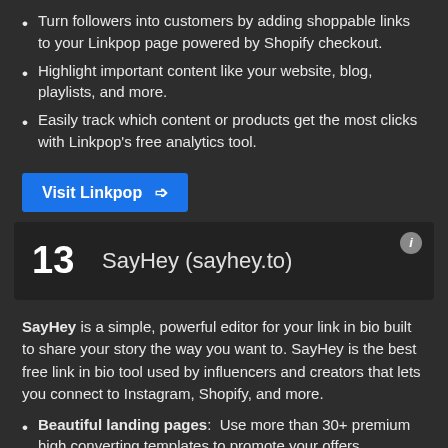Turn followers into customers by adding shoppable links to your Linkpop page powered by Shopify checkout.
Highlight important content like your website, blog, playlists, and more.
Easily track which content or products get the most clicks with Linkpop's free analytics tool.
Visit Linkpop →
13    SayHey (sayhey.to)
SayHey is a simple, powerful editor for your link in bio built to share your story the way you want to. SayHey is the best free link in bio tool used by influencers and creators that lets you connect to Instagram, Shopify, and more.
Beautiful landing pages: Use more than 30+ premium high converting templates to promote your offers.
Personalization: Use the list of sections such as links, images, videos, newsletter sign-up, and more to make…